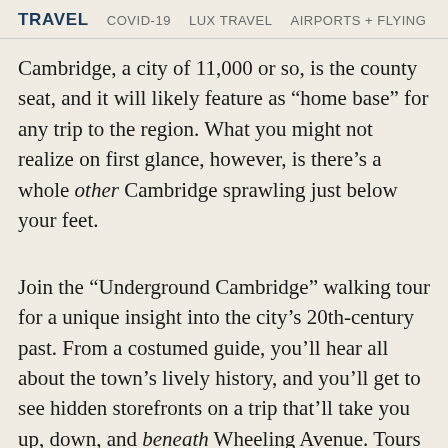TRAVEL   COVID-19   LUX TRAVEL   AIRPORTS + FLYING
Cambridge, a city of 11,000 or so, is the county seat, and it will likely feature as “home base” for any trip to the region. What you might not realize on first glance, however, is there’s a whole other Cambridge sprawling just below your feet.
Join the “Underground Cambridge” walking tour for a unique insight into the city’s 20th-century past. From a costumed guide, you’ll hear all about the town’s lively history, and you’ll get to see hidden storefronts on a trip that’ll take you up, down, and beneath Wheeling Avenue. Tours in 2017 will run on three Saturdays: June 24, July 29, and August 26. They’re all likely to sell out, so get your reservation in quick!